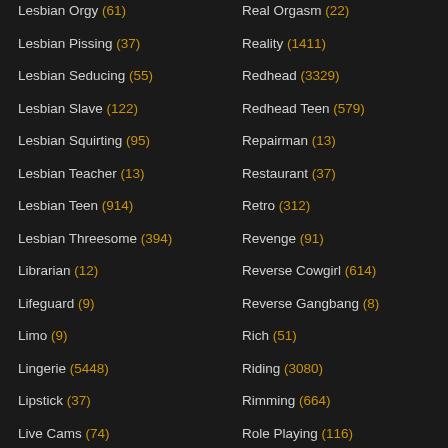Lesbian Orgy (61)
Lesbian Pissing (37)
Lesbian Seducing (55)
Lesbian Slave (122)
Lesbian Squirting (95)
Lesbian Teacher (13)
Lesbian Teen (914)
Lesbian Threesome (394)
Librarian (12)
Lifeguard (9)
Limo (9)
Lingerie (5448)
Lipstick (37)
Live Cams (74)
Loads Of Cum (32)
Locker Room (43)
Real Orgasm (22)
Reality (1411)
Redhead (3329)
Redhead Teen (579)
Repairman (13)
Restaurant (37)
Retro (312)
Revenge (91)
Reverse Cowgirl (614)
Reverse Gangbang (8)
Rich (51)
Riding (3080)
Rimming (664)
Role Playing (116)
Romanian (395)
Romantic (230)